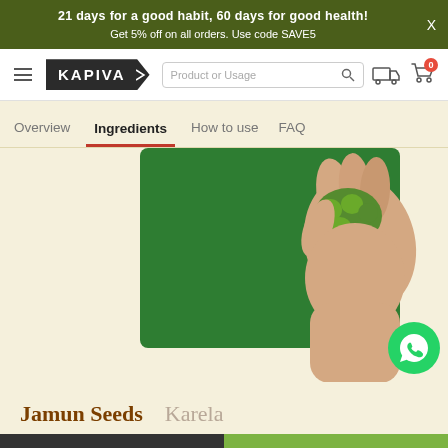21 days for a good habit, 60 days for good health!
Get 5% off on all orders. Use code SAVE5
[Figure (logo): Kapiva brand logo — white text on black background with arrow notch shape]
Product or Usage
Overview   Ingredients   How to use   FAQ
[Figure (illustration): Illustrated hand holding a karela (bitter gourd) with green background card, and two green stalks crossing diagonally in foreground, on cream background]
Jamun Seeds   Karela
ADD TO CART
BUY NOW